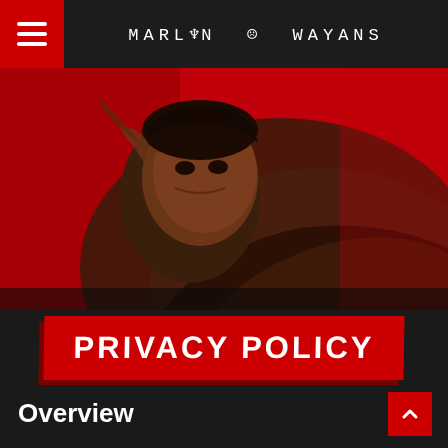MARLON WAYANS
[Figure (photo): Professional photo of Marlon Wayans wearing a brown leather jacket against a red background, leaning forward looking at camera]
PRIVACY POLICY
Overview